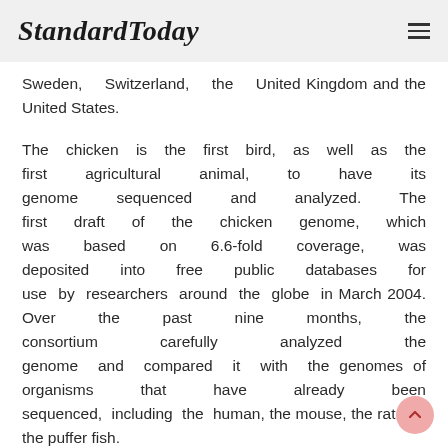StandardToday
Sweden, Switzerland, the United Kingdom and the United States.
The chicken is the first bird, as well as the first agricultural animal, to have its genome sequenced and analyzed. The first draft of the chicken genome, which was based on 6.6-fold coverage, was deposited into free public databases for use by researchers around the globe in March 2004. Over the past nine months, the consortium carefully analyzed the genome and compared it with the genomes of organisms that have already been sequenced, including the human, the mouse, the rat and the puffer fish.